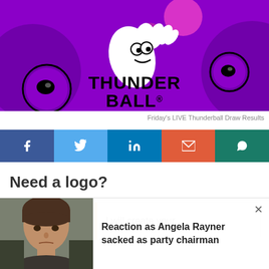[Figure (logo): Thunderball National Lottery logo on purple background with two eyes and hand gestures. Text reads THUNDER BALL® in black bold font.]
Friday's LIVE Thunderball Draw Results
[Figure (infographic): Social sharing buttons: Facebook (dark blue), Twitter (light blue), LinkedIn (medium blue), Email (orange-red), WhatsApp (dark teal)]
Need a logo?
[Figure (infographic): Ad card with orange left block and text: I will create your]
Reaction as Angela Rayner sacked as party chairman